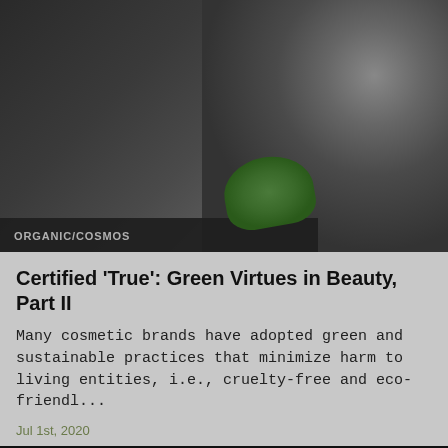[Figure (photo): Dark-toned photo of a woman with dark hair holding green leaves near her face, on a dark background]
ORGANIC/COSMOS
Certified 'True': Green Virtues in Beauty, Part II
Many cosmetic brands have adopted green and sustainable practices that minimize harm to living entities, i.e., cruelty-free and eco-friendl...
Jul 1st, 2020
FAQ  Contact Us  Editorial Submission  Advertise  Privacy Policy  Legal Terms  Scientific Advisors  Site Map